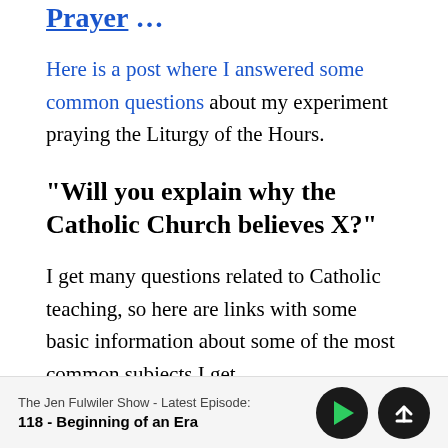Prayer …
Here is a post where I answered some common questions about my experiment praying the Liturgy of the Hours.
“Will you explain why the Catholic Church believes X?”
I get many questions related to Catholic teaching, so here are links with some basic information about some of the most common subjects I get
The Jen Fulwiler Show - Latest Episode:
118 - Beginning of an Era